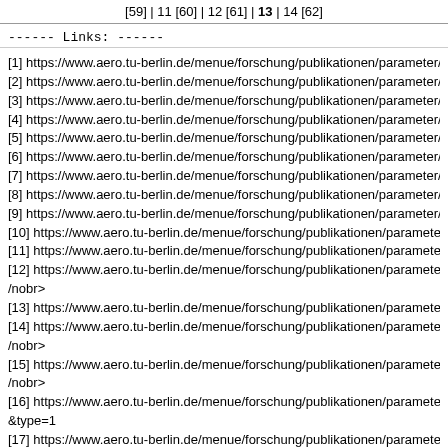[59] | 11 [60] | 12 [61] | 13 | 14 [62]
------ Links: ------
[1] https://www.aero.tu-berlin.de/menue/forschung/publikationen/parameter/mi
[2] https://www.aero.tu-berlin.de/menue/forschung/publikationen/parameter/mi
[3] https://www.aero.tu-berlin.de/menue/forschung/publikationen/parameter/mi
[4] https://www.aero.tu-berlin.de/menue/forschung/publikationen/parameter/mi
[5] https://www.aero.tu-berlin.de/menue/forschung/publikationen/parameter/mi
[6] https://www.aero.tu-berlin.de/menue/forschung/publikationen/parameter/mi
[7] https://www.aero.tu-berlin.de/menue/forschung/publikationen/parameter/mi
[8] https://www.aero.tu-berlin.de/menue/forschung/publikationen/parameter/mi
[9] https://www.aero.tu-berlin.de/menue/forschung/publikationen/parameter/mi
[10] https://www.aero.tu-berlin.de/menue/forschung/publikationen/parameter/n
[11] https://www.aero.tu-berlin.de/menue/forschung/publikationen/parameter/n
[12] https://www.aero.tu-berlin.de/menue/forschung/publikationen/parameter/n
/nobr>
[13] https://www.aero.tu-berlin.de/menue/forschung/publikationen/parameter/n
[14] https://www.aero.tu-berlin.de/menue/forschung/publikationen/parameter/n
/nobr>
[15] https://www.aero.tu-berlin.de/menue/forschung/publikationen/parameter/n
/nobr>
[16] https://www.aero.tu-berlin.de/menue/forschung/publikationen/parameter/n
&type=1
[17] https://www.aero.tu-berlin.de/menue/forschung/publikationen/parameter/n
&type=1
[18] https://www.aero.tu-berlin.de/menue/forschung/publikationen/parameter/n
1&type=1
[19] https://www.aero.tu-berlin.de/menue/forschung/publikationen/parameter/n
535711&cHash=0b4d5ab18f3323f67439c405b97e98f5
[20] https://www.aero.tu-berlin.de/menue/forschung/publikationen/parameter/n